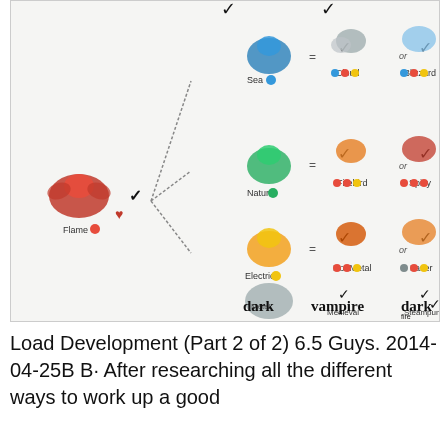[Figure (infographic): Dragon breeding chart showing Flame dragon combined with Sea, Nature, Electric, and Metal dragons to produce Cloud/Blizzard, Firebird/Spicy, Hot Metal/Laser, Medieval/Steampunk dragons, with checkmarks indicating results. Bottom shows handwritten labels: dark, vampire, dark fire.]
Load Development (Part 2 of 2) 6.5 Guys. 2014-04-25B B· After researching all the different ways to work up a good